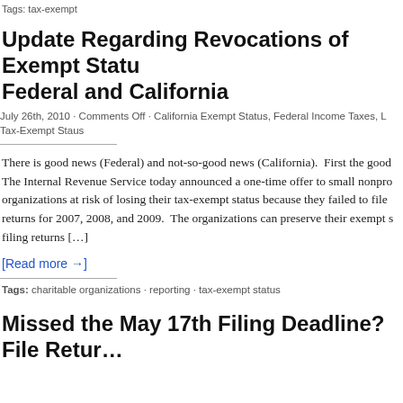Tags: tax-exempt
Update Regarding Revocations of Exempt Status: Federal and California
July 26th, 2010 · Comments Off · California Exempt Status, Federal Income Taxes, L... Tax-Exempt Staus
There is good news (Federal) and not-so-good news (California).  First the good... The Internal Revenue Service today announced a one-time offer to small nonpro... organizations at risk of losing their tax-exempt status because they failed to file returns for 2007, 2008, and 2009.  The organizations can preserve their exempt s... filing returns […]
[Read more →]
Tags: charitable organizations · reporting · tax-exempt status
Missed the May 17th Filing Deadline? File Retur...